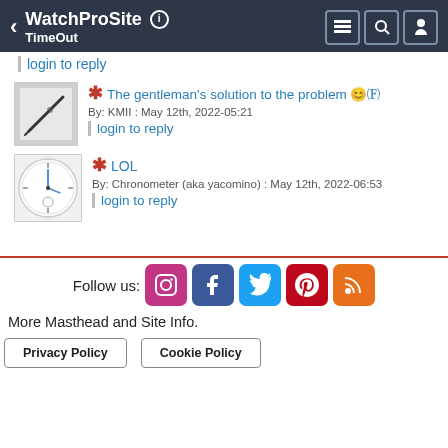WatchProSite — TimeOut
login to reply
* The gentleman's solution to the problem 😊🀱
By: KMII : May 12th, 2022-05:21
login to reply
* LOL
By: Chronometer (aka yacomino) : May 12th, 2022-06:53
login to reply
Follow us:
More Masthead and Site Info.
Privacy Policy   Cookie Policy